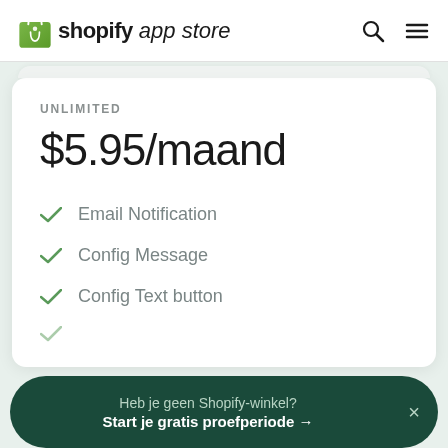shopify app store
UNLIMITED
$5.95/maand
Email Notification
Config Message
Config Text button
Heb je geen Shopify-winkel? Start je gratis proefperiode →